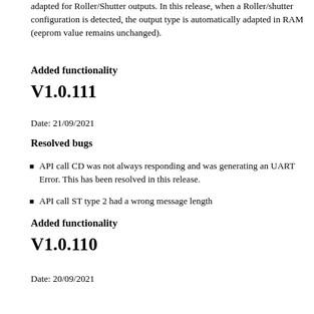adapted for Roller/Shutter outputs. In this release, when a Roller/shutter configuration is detected, the output type is automatically adapted in RAM (eeprom value remains unchanged).
Added functionality
V1.0.111
Date: 21/09/2021
Resolved bugs
API call CD was not always responding and was generating an UART Error. This has been resolved in this release.
API call ST type 2 had a wrong message length
Added functionality
V1.0.110
Date: 20/09/2021